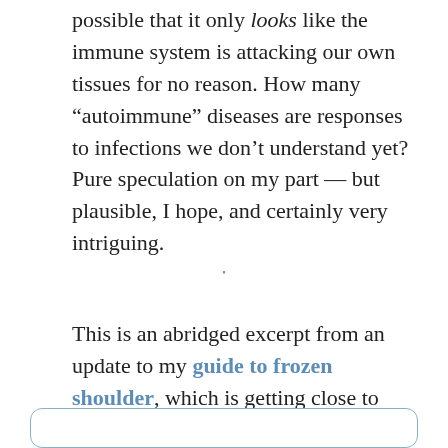possible that it only looks like the immune system is attacking our own tissues for no reason. How many “autoimmune” diseases are responses to infections we don’t understand yet? Pure speculation on my part — but plausible, I hope, and certainly very intriguing.
•
This is an abridged excerpt from an update to my guide to frozen shoulder, which is getting close to being launched as a full-blown book.